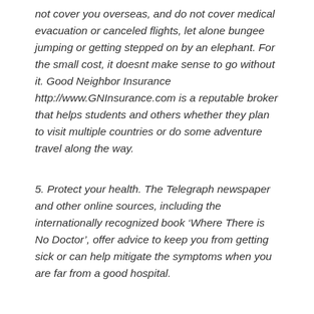not cover you overseas, and do not cover medical evacuation or canceled flights, let alone bungee jumping or getting stepped on by an elephant. For the small cost, it doesnt make sense to go without it. Good Neighbor Insurance http://www.GNInsurance.com is a reputable broker that helps students and others whether they plan to visit multiple countries or do some adventure travel along the way.
5. Protect your health. The Telegraph newspaper and other online sources, including the internationally recognized book ‘Where There is No Doctor’, offer advice to keep you from getting sick or can help mitigate the symptoms when you are far from a good hospital.